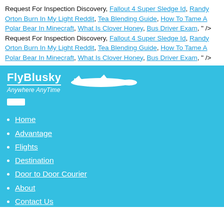Request For Inspection Discovery, Fallout 4 Super Sledge Id, Randy Orton Burn In My Light Reddit, Tea Blending Guide, How To Tame A Polar Bear In Minecraft, What Is Clover Honey, Bus Driver Exam, " /> Request For Inspection Discovery, Fallout 4 Super Sledge Id, Randy Orton Burn In My Light Reddit, Tea Blending Guide, How To Tame A Polar Bear In Minecraft, What Is Clover Honey, Bus Driver Exam, " />
[Figure (logo): FlyBlusky airline logo with text 'FlyBlusky', tagline 'Anywhere AnyTime', and white airplane silhouette on a sky blue background]
Home
Advantage
Flights
Destination
Door to Door Courier
About
Contact Us